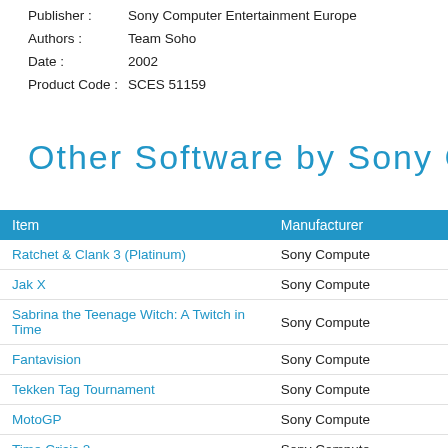Publisher : Sony Computer Entertainment Europe
Authors : Team Soho
Date : 2002
Product Code : SCES 51159
Other Software by Sony Co
| Item | Manufacturer |
| --- | --- |
| Ratchet & Clank 3 (Platinum) | Sony Compute |
| Jak X | Sony Compute |
| Sabrina the Teenage Witch: A Twitch in Time | Sony Compute |
| Fantavision | Sony Compute |
| Tekken Tag Tournament | Sony Compute |
| MotoGP | Sony Compute |
| Time Crisis 2 | Sony Compute |
| Ratchet & Clank | Sony Compute |